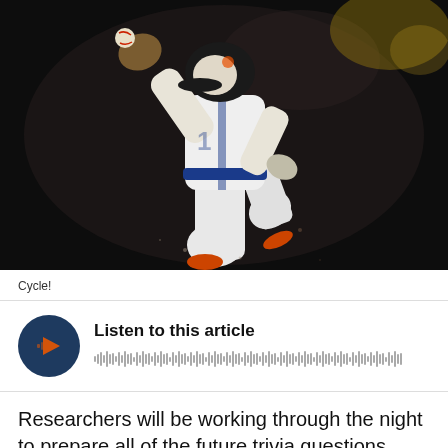[Figure (photo): Baseball player in white uniform with blue and orange accents, jumping or running mid-action on a dark background. Player appears to be a New York Mets player.]
Cycle!
[Figure (other): Audio player widget with dark blue circular play button with orange play/waveform icon, text 'Listen to this article', and a grey audio waveform visualization bar.]
Researchers will be working through the night to prepare all of the future trivia questions arising from